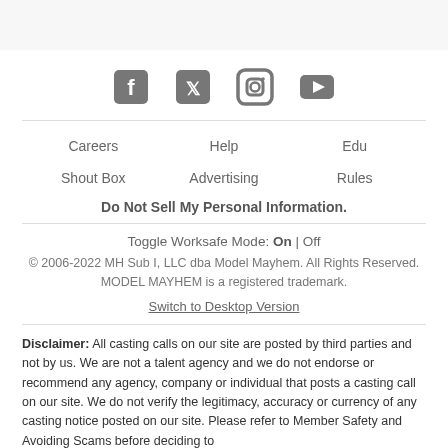[Figure (other): Social media icons row: Facebook, Twitter, Instagram, YouTube]
Careers
Help
Edu
Shout Box
Advertising
Rules
Do Not Sell My Personal Information.
Toggle Worksafe Mode: On | Off
© 2006-2022 MH Sub I, LLC dba Model Mayhem. All Rights Reserved. MODEL MAYHEM is a registered trademark.
Switch to Desktop Version
Disclaimer: All casting calls on our site are posted by third parties and not by us. We are not a talent agency and we do not endorse or recommend any agency, company or individual that posts a casting call on our site. We do not verify the legitimacy, accuracy or currency of any casting notice posted on our site. Please refer to Member Safety and Avoiding Scams before deciding to